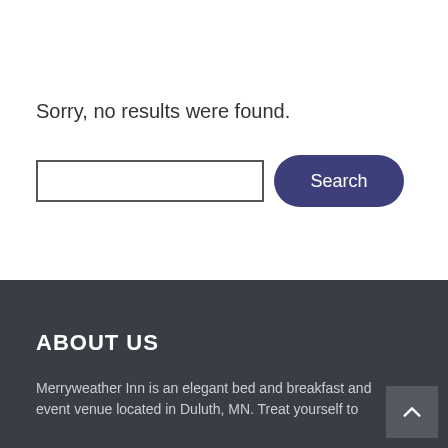Sorry, no results were found.
[Figure (screenshot): Search input field and Search button]
ABOUT US
Merryweather Inn is an elegant bed and breakfast and event venue located in Duluth, MN. Treat yourself to